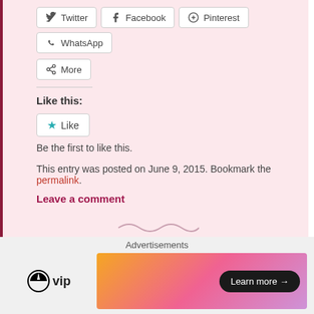[Figure (screenshot): Social share buttons: Twitter, Facebook, Pinterest, WhatsApp, More]
Like this:
[Figure (screenshot): Like button widget with star icon]
Be the first to like this.
This entry was posted on June 9, 2015. Bookmark the permalink.
Leave a comment
[Figure (illustration): Decorative squiggle divider]
Advertisements
[Figure (logo): WordPress VIP logo and Learn more advertisement banner]